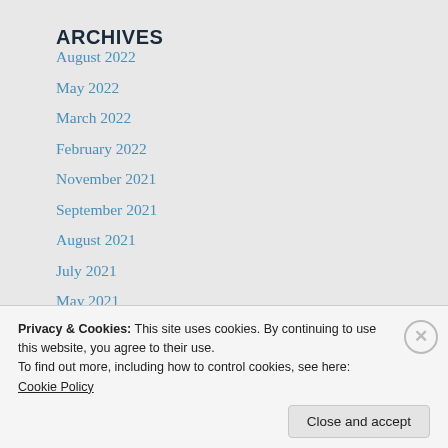ARCHIVES
August 2022
May 2022
March 2022
February 2022
November 2021
September 2021
August 2021
July 2021
May 2021
April 2021
March 2021
Privacy & Cookies: This site uses cookies. By continuing to use this website, you agree to their use.
To find out more, including how to control cookies, see here: Cookie Policy
Close and accept